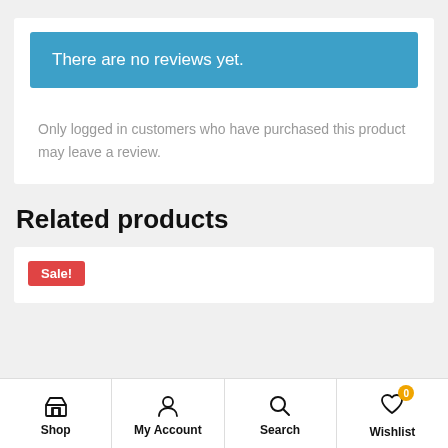There are no reviews yet.
Only logged in customers who have purchased this product may leave a review.
Related products
Sale!
Shop | My Account | Search | Wishlist (0)